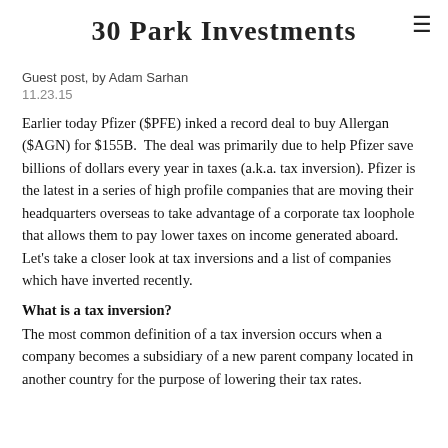30 Park Investments
Guest post, by Adam Sarhan
11.23.15
Earlier today Pfizer ($PFE) inked a record deal to buy Allergan ($AGN) for $155B.  The deal was primarily due to help Pfizer save billions of dollars every year in taxes (a.k.a. tax inversion). Pfizer is the latest in a series of high profile companies that are moving their headquarters overseas to take advantage of a corporate tax loophole that allows them to pay lower taxes on income generated aboard. Let's take a closer look at tax inversions and a list of companies which have inverted recently.
What is a tax inversion?
The most common definition of a tax inversion occurs when a company becomes a subsidiary of a new parent company located in another country for the purpose of lowering their tax rates.